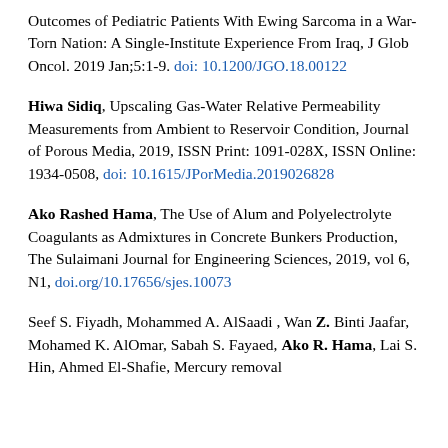Outcomes of Pediatric Patients With Ewing Sarcoma in a War-Torn Nation: A Single-Institute Experience From Iraq, J Glob Oncol. 2019 Jan;5:1-9. doi: 10.1200/JGO.18.00122
Hiwa Sidiq, Upscaling Gas-Water Relative Permeability Measurements from Ambient to Reservoir Condition, Journal of Porous Media, 2019, ISSN Print: 1091-028X, ISSN Online: 1934-0508, doi: 10.1615/JPorMedia.2019026828
Ako Rashed Hama, The Use of Alum and Polyelectrolyte Coagulants as Admixtures in Concrete Bunkers Production, The Sulaimani Journal for Engineering Sciences, 2019, vol 6, N1, doi.org/10.17656/sjes.10073
Seef S. Fiyadh, Mohammed A. AlSaadi, Wan Z. Binti Jaafar, Mohamed K. AlOmar, Sabah S. Fayaed, Ako R. Hama, Lai S. Hin, Ahmed El-Shafie, Mercury removal